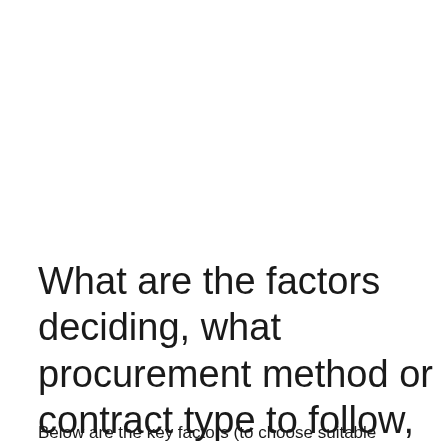What are the factors deciding, what procurement method or contract type to follow,
Below are the key factors (to choose suitable procurement